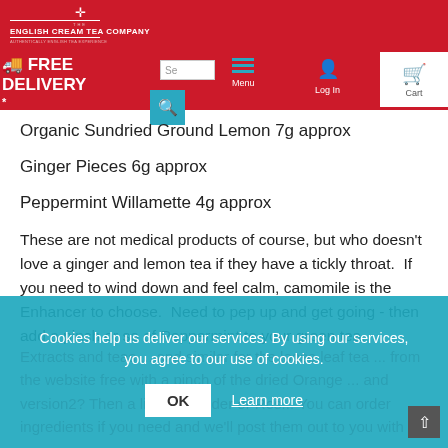[Figure (screenshot): Red navigation header bar with English Cream Tea Company logo, free delivery notice, search box, menu, log in, wishlist, and cart icons]
Organic Sundried Ground Lemon 7g approx
Ginger Pieces 6g approx
Peppermint Willamette 4g approx
These are not medical products of course, but who doesn't love a ginger and lemon tea if they have a tickly throat.  If you need to wind down and feel calm, camomile is the Enhancer to choose.  Need to pep up and get going - then add a pinch or so of Peppermint to your green tea.
Extracts and teas ... loose leaf tea ... a pinch of the dried Orange ... version2? Then a little Lavender or Ros... You can order ingredients if you need and we'll post them out to you with
Cookies help us deliver our services. By using our services, you agree to our use of cookies.